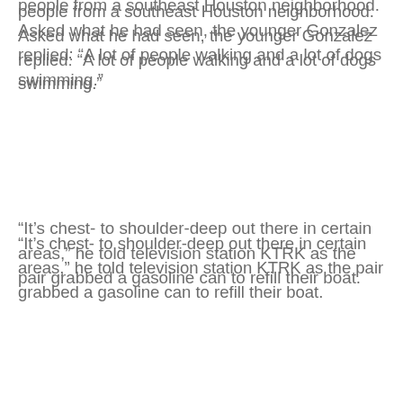people from a southeast Houston neighborhood. Asked what he had seen, the younger Gonzalez replied: “A lot of people walking and a lot of dogs swimming.”
“It’s chest- to shoulder-deep out there in certain areas,” he told television station KTRK as the pair grabbed a gasoline can to refill their boat.
The Coast Guard, which received more than 300 requests for help, deployed five helicopters and asked for additional aircraft from New Orleans.
Staff at a Houston television station broadcasting live coverage of the floods had to evacuate after water started to gush into the building. The anchors and news operations at KHOU moved first to a second floor before finally abandoning the station.